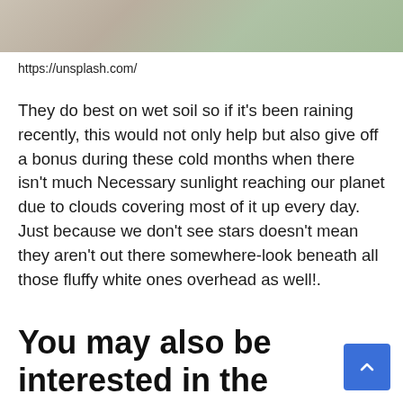[Figure (photo): Partial photo of plants/flowers on wet soil, cropped at top of page]
https://unsplash.com/
They do best on wet soil so if it’s been raining recently, this would not only help but also give off a bonus during these cold months when there isn’t much Necessary sunlight reaching our planet due to clouds covering most of it up every day. Just because we don’t see stars doesn’t mean they aren’t out there somewhere-look beneath all those fluffy white ones overhead as well!.
You may also be interested in the